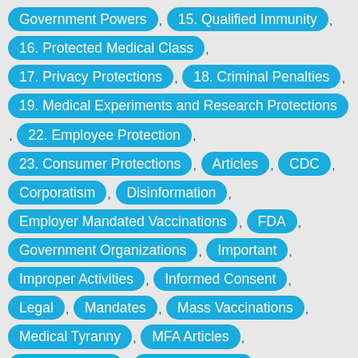Government Powers , 15. Qualified Immunity , 16. Protected Medical Class , 17. Privacy Protections , 18. Criminal Penalties , 19. Medical Experiments and Research Protections , 22. Employee Protection , 23. Consumer Protections , Articles , CDC , Corporatism , Disinformation , Employer Mandated Vaccinations , FDA , Government Organizations , Important , Improper Activities , Informed Consent , Legal , Mandates , Mass Vaccinations , Medical Tyranny , MFA Articles , mRNA Vaccine , Pfizer BioNTech , Pfizer Comirnaty , Plandemic , Propaganda , Psychology , Regret , Restrictions , Vaccine Deaths , Vaccine Hesitancy , Vaccine Injury